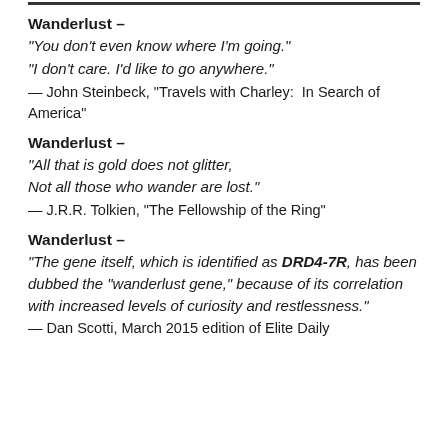Wanderlust –
“You don’t even know where I’m going.”
“I don’t care. I’d like to go anywhere.”
— John Steinbeck, “Travels with Charley:  In Search of America”
Wanderlust –
“All that is gold does not glitter,
Not all those who wander are lost.”
— J.R.R. Tolkien, “The Fellowship of the Ring”
Wanderlust –
“The gene itself, which is identified as DRD4-7R, has been dubbed the “wanderlust gene,” because of its correlation with increased levels of curiosity and restlessness.”
— Dan Scotti, March 2015 edition of Elite Daily